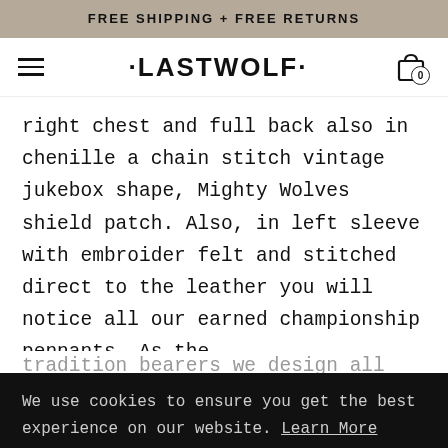FREE SHIPPING + FREE RETURNS
[Figure (logo): Lastwolf brand logo with hamburger menu and cart icon]
right chest and full back also in chenille a chain stitch vintage jukebox shape, Mighty Wolves shield patch. Also, in left sleeve with embroider felt and stitched direct to the leather you will notice all our earned championship pennants. As the tradition bearers we design all our
We use cookies to ensure you get the best experience on our website. Learn More
GOT IT!